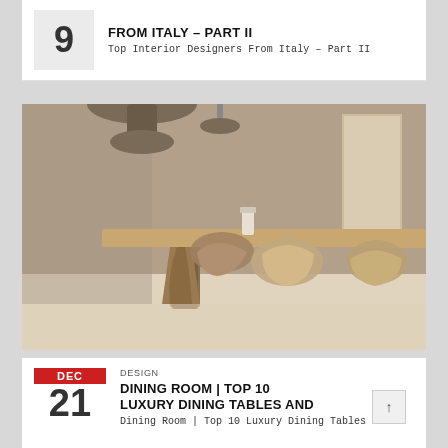9
FROM ITALY – PART II
Top Interior Designers From Italy – Part II
[Figure (photo): Luxury dining room with a large wooden table, designer chairs, and elegant interior with stone walls and pendant lighting.]
DEC
21
DESIGN
DINING ROOM | TOP 10 LUXURY DINING TABLES AND
Dining Room | Top 10 Luxury Dining Tables and